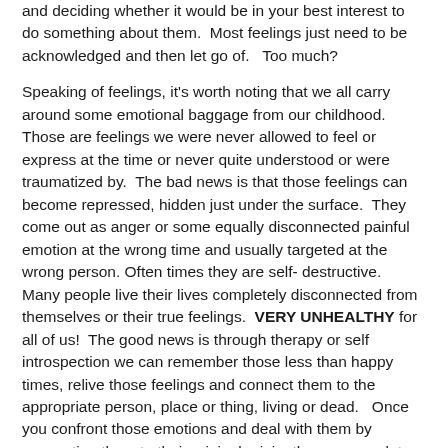and deciding whether it would be in your best interest to do something about them.  Most feelings just need to be acknowledged and then let go of.   Too much?
Speaking of feelings, it's worth noting that we all carry around some emotional baggage from our childhood.  Those are feelings we were never allowed to feel or express at the time or never quite understood or were traumatized by.  The bad news is that those feelings can become repressed, hidden just under the surface.  They come out as anger or some equally disconnected painful emotion at the wrong time and usually targeted at the wrong person. Often times they are self- destructive.  Many people live their lives completely disconnected from themselves or their true feelings.  VERY UNHEALTHY for all of us!  The good news is through therapy or self introspection we can remember those less than happy times, relive those feelings and connect them to the appropriate person, place or thing, living or dead.   Once you confront those emotions and deal with them by connecting them to their original origin, then you can let them go and begin to heal.   Just remember, ALL FEELINGS HAVE TO BE RECOGNIZED AND EITHER LET GO OR